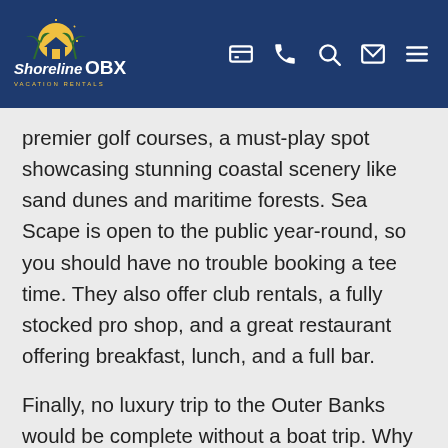Shoreline OBX Vacation Rentals
premier golf courses, a must-play spot showcasing stunning coastal scenery like sand dunes and maritime forests. Sea Scape is open to the public year-round, so you should have no trouble booking a tee time. They also offer club rentals, a fully stocked pro shop, and a great restaurant offering breakfast, lunch, and a full bar.
Finally, no luxury trip to the Outer Banks would be complete without a boat trip. Why not take a romantic sunset catamaran cruise? Nor’Banks Sailing and Watersports offers private catamaran sails, as well as a plethora of other water sports options, including rentals of kayaks, paddleboards,